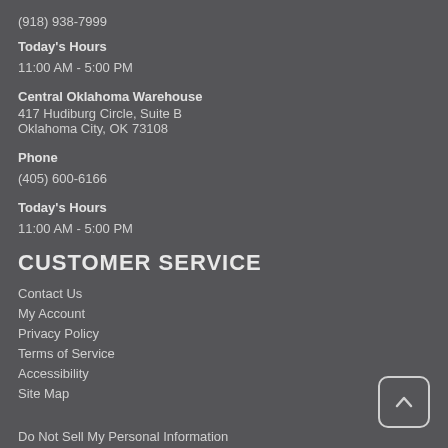(918) 938-7999
Today's Hours
11:00 AM - 5:00 PM
Central Oklahoma Warehouse
417 Hudiburg Circle, Suite B
Oklahoma City, OK 73108
Phone
(405) 600-6166
Today's Hours
11:00 AM - 5:00 PM
CUSTOMER SERVICE
Contact Us
My Account
Privacy Policy
Terms of Service
Accessibility
Site Map
Do Not Sell My Personal Information